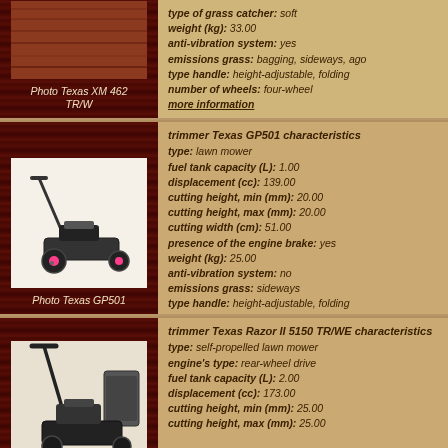[Figure (photo): Photo Texas XM 462 TR/W - dark wood background with product label]
Photo Texas XM 462 TR/W
type of grass catcher: soft
weight (kg): 33.00
anti-vibration system: yes
emissions grass: bagging, sideways, ago
type handle: height-adjustable, folding
number of wheels: four-wheel
more information
[Figure (photo): Photo Texas GP501 - lawn mower with pink wheels on white background]
Photo Texas GP501
trimmer Texas GP501 characteristics
type: lawn mower
fuel tank capacity (L): 1.00
displacement (cc): 139.00
cutting height, min (mm): 20.00
cutting height, max (mm): 20.00
cutting width (cm): 51.00
presence of the engine brake: yes
weight (kg): 25.00
anti-vibration system: no
emissions grass: sideways
type handle: height-adjustable, folding
number of wheels: four-wheel
more information
[Figure (photo): Photo of Texas Razor II 5150 TR/WE lawn mower - partial view]
trimmer Texas Razor II 5150 TR/WE characteristics
type: self-propelled lawn mower
engine's type: rear-wheel drive
fuel tank capacity (L): 2.00
displacement (cc): 173.00
cutting height, min (mm): 25.00
cutting height, max (mm): 25.00